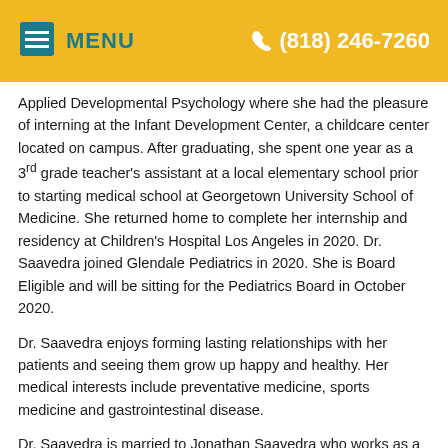MENU  (818) 246-7260
Applied Developmental Psychology where she had the pleasure of interning at the Infant Development Center, a childcare center located on campus. After graduating, she spent one year as a 3rd grade teacher's assistant at a local elementary school prior to starting medical school at Georgetown University School of Medicine. She returned home to complete her internship and residency at Children's Hospital Los Angeles in 2020. Dr. Saavedra joined Glendale Pediatrics in 2020. She is Board Eligible and will be sitting for the Pediatrics Board in October 2020.
Dr. Saavedra enjoys forming lasting relationships with her patients and seeing them grow up happy and healthy. Her medical interests include preventative medicine, sports medicine and gastrointestinal disease.
Dr. Saavedra is married to Jonathan Saavedra who works as a math teacher at La Canada High School. They reside in Pasadena with their cat, Seany, who loves to cuddle and are looking forward to continuing to grow their family. Their interests include traveling, and experiencing other cultures,